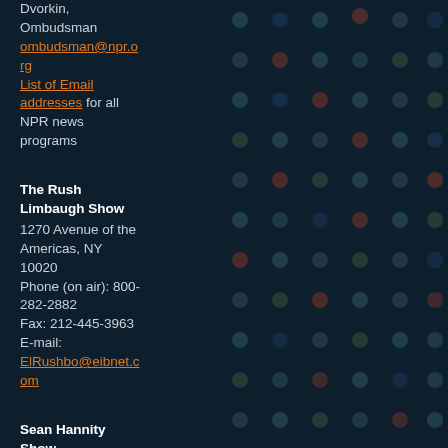Dvorkin, Ombudsman ombudsman@npr.org List of Email addresses for all NPR news programs
The Rush Limbaugh Show
1270 Avenue of the Americas, NY 10020
Phone (on air): 800-282-2882
Fax: 212-445-3963
E-mail: ElRushbo@eibnet.com
Sean Hannity Show
Phone (on air): 800-941-7326